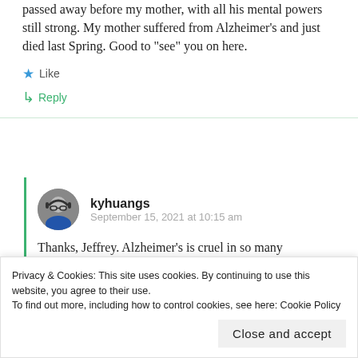passed away before my mother, with all his mental powers still strong. My mother suffered from Alzheimer’s and just died last Spring. Good to “see” you on here.
★ Like
↳ Reply
kyhuangs
September 15, 2021 at 10:15 am
Thanks, Jeffrey. Alzheimer’s is cruel in so many
Privacy & Cookies: This site uses cookies. By continuing to use this website, you agree to their use.
To find out more, including how to control cookies, see here: Cookie Policy
Close and accept